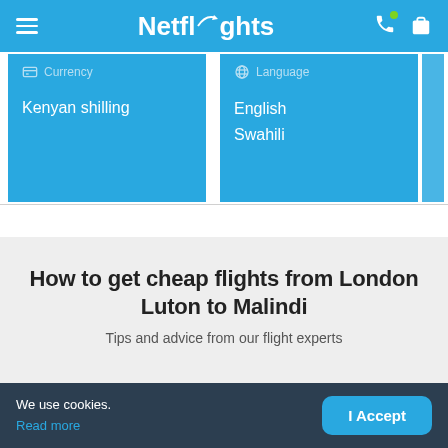Netflights
Currency
Kenyan shilling
Language
English
Swahili
How to get cheap flights from London Luton to Malindi
Tips and advice from our flight experts
We use cookies.
Read more
I Accept